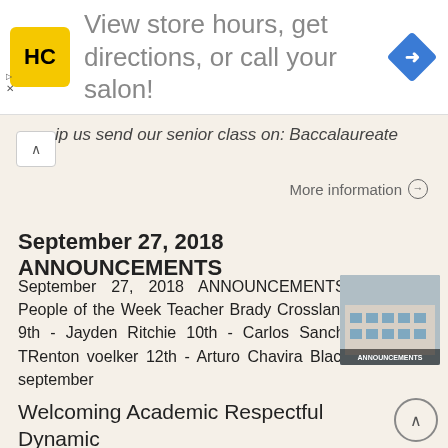[Figure (infographic): Advertisement banner with HC logo (yellow square with HC text), text 'View store hours, get directions, or call your salon!', and a blue diamond direction arrow icon on the right. Close/skip buttons on lower left.]
ip us send our senior class on: Baccalaureate
More information →
September 27, 2018 ANNOUNCEMENTS
September 27, 2018 ANNOUNCEMENTS Calendar People of the Week Teacher Brady Crossland Students 9th - Jayden Ritchie 10th - Carlos Sanchez 11th - TRenton voelker 12th - Arturo Chavira Blackout friday september
[Figure (photo): Thumbnail image of a school building with 'ANNOUNCEMENTS' label overlay at bottom]
More information →
Welcoming Academic Respectful Dynamic Ethical. Daily Bulletin